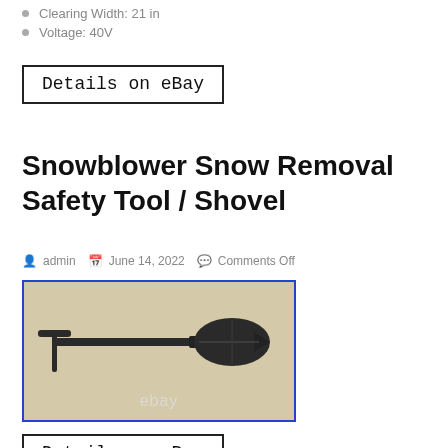Clearing Width: 21 in
Voltage: 40V
Details on eBay
Snowblower Snow Removal Safety Tool / Shovel
admin  June 14, 2022  Comments Off
[Figure (photo): A black snowblower safety tool / shovel with a T-bar handle on the left and a pointed spade head on the right, photographed on a light brown surface, with an eBay watermark.]
Details on eBay